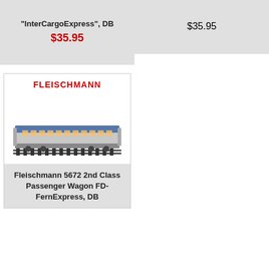"InterCargoExpress", DB
$35.95
$35.95
[Figure (photo): Fleischmann model train - 2nd Class Passenger Wagon, silver and blue livery, on track]
Fleischmann 5672 2nd Class Passenger Wagon FD-FernExpress, DB